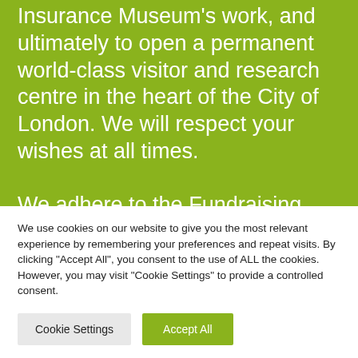Insurance Museum's work, and ultimately to open a permanent world-class visitor and research centre in the heart of the City of London. We will respect your wishes at all times.

We adhere to the Fundraising Code of Practice and are honest, respectful, and accountable to our supporters. Please
We use cookies on our website to give you the most relevant experience by remembering your preferences and repeat visits. By clicking "Accept All", you consent to the use of ALL the cookies. However, you may visit "Cookie Settings" to provide a controlled consent.